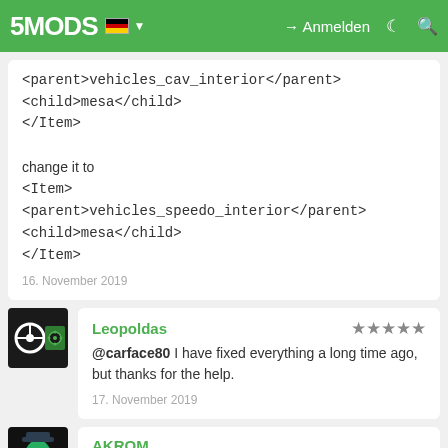5MODS — Anmelden
<parent>vehicles_cav_interior</parent>
<child>mesa</child>
</Item>

change it to
<Item>
<parent>vehicles_speedo_interior</parent>
<child>mesa</child>
</Item>
16. November 2019
Leopoldas
@carface80 I have fixed everything a long time ago, but thanks for the help.
17. November 2019
AKROM
@Leopoldas у тебя есть вк
1. Dezember 2019